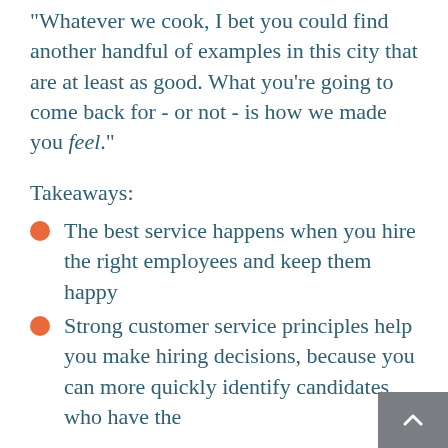"Whatever we cook, I bet you could find another handful of examples in this city that are at least as good. What you're going to come back for - or not - is how we made you feel."
Takeaways:
The best service happens when you hire the right employees and keep them happy
Strong customer service principles help you make hiring decisions, because you can more quickly identify candidates who have the